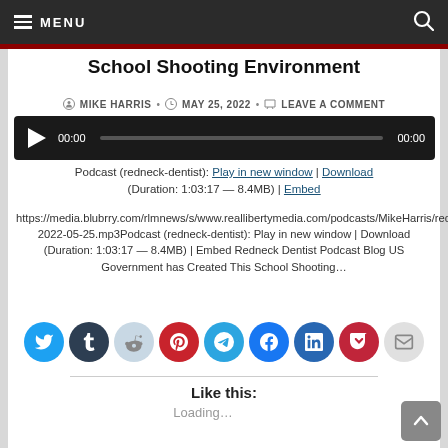MENU
School Shooting Environment
MIKE HARRIS • MAY 25, 2022 • LEAVE A COMMENT
[Figure (other): Audio player with play button, time display 00:00, progress bar, and end time 00:00]
Podcast (redneck-dentist): Play in new window | Download (Duration: 1:03:17 — 8.4MB) | Embed
https://media.blubrry.com/rlmnews/s/www.reallibertymedia.com/podcasts/MikeHarris/redneckdentist-2022-05-25.mp3Podcast (redneck-dentist): Play in new window | Download (Duration: 1:03:17 — 8.4MB) | Embed Redneck Dentist Podcast Blog US Government has Created This School Shooting...
[Figure (other): Social sharing icons row: Twitter, Tumblr, Reddit, Pinterest, Telegram, Facebook, LinkedIn, Pocket, Email]
Like this:
Loading...